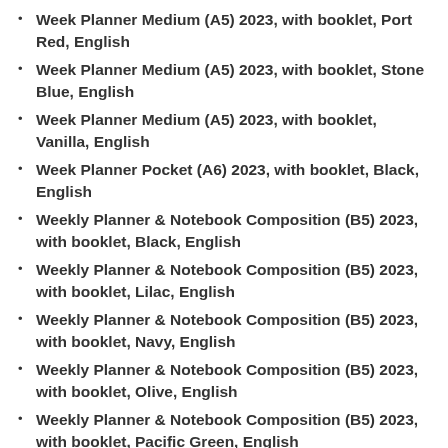Week Planner Medium (A5) 2023, with booklet, Port Red, English
Week Planner Medium (A5) 2023, with booklet, Stone Blue, English
Week Planner Medium (A5) 2023, with booklet, Vanilla, English
Week Planner Pocket (A6) 2023, with booklet, Black, English
Weekly Planner & Notebook Composition (B5) 2023, with booklet, Black, English
Weekly Planner & Notebook Composition (B5) 2023, with booklet, Lilac, English
Weekly Planner & Notebook Composition (B5) 2023, with booklet, Navy, English
Weekly Planner & Notebook Composition (B5) 2023, with booklet, Olive, English
Weekly Planner & Notebook Composition (B5) 2023, with booklet, Pacific Green, English
Weekly Planner & Notebook Composition (B5) 2023, with booklet, Port Red, English